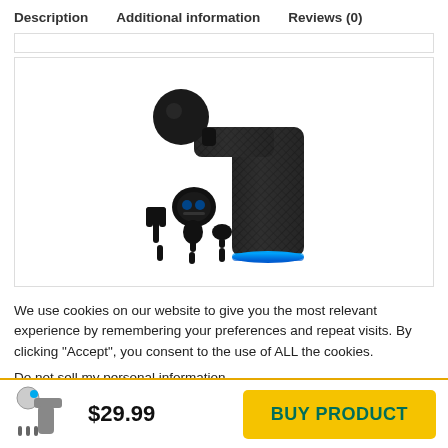Description    Additional information    Reviews (0)
[Figure (photo): Massage gun with attachments: main device with textured carbon-fiber grip and blue LED ring at base, plus 4 attachment heads (ball, flat, fork/U-shape, bullet), a circular control pad, and 3 stem pieces displayed below the main gun]
We use cookies on our website to give you the most relevant experience by remembering your preferences and repeat visits. By clicking “Accept”, you consent to the use of ALL the cookies.
Do not sell my personal information.
$29.99    BUY PRODUCT